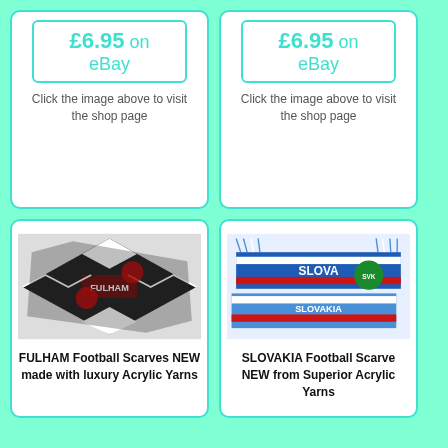£6.95 on eBay
Click the image above to visit the shop page
£6.95 on eBay
Click the image above to visit the shop page
[Figure (photo): Fulham FC football scarf in black, white and red with club crest]
FULHAM Football Scarves NEW made with luxury Acrylic Yarns
[Figure (photo): Slovakia football scarf in blue, white and red with national crest]
SLOVAKIA Football Scarve NEW from Superior Acrylic Yarns